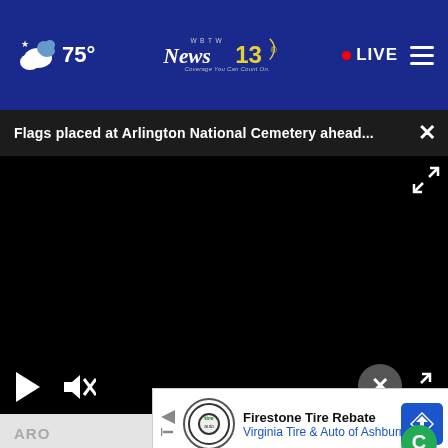75° News 13 WBTW Coverage You Can Count On. • LIVE
Flags placed at Arlington National Cemetery ahead... ×
[Figure (screenshot): Black video player area with play button, mute button, and fullscreen expand button at bottom corners]
[Figure (infographic): Advertisement banner: Firestone Tire Rebate, Virginia Tire & Auto of Ashburn]
ARO